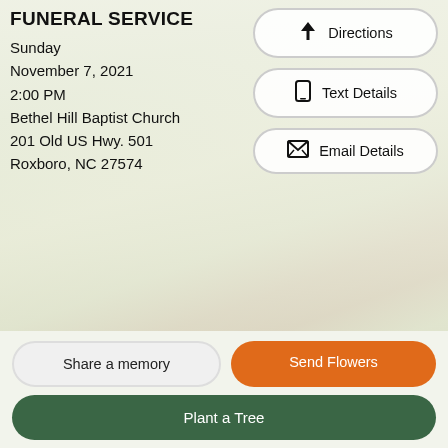FUNERAL SERVICE
Sunday
November 7, 2021
2:00 PM
Bethel Hill Baptist Church
201 Old US Hwy. 501
Roxboro, NC 27574
Directions
Text Details
Email Details
Tribute Wall
Share a memory of William Forest Evans, Jr.
Share a memory
Send Flowers
Plant a Tree